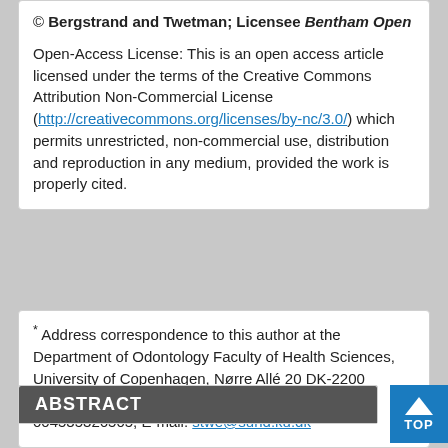© Bergstrand and Twetman; Licensee Bentham Open

Open-Access License: This is an open access article licensed under the terms of the Creative Commons Attribution Non-Commercial License (http://creativecommons.org/licenses/by-nc/3.0/) which permits unrestricted, non-commercial use, distribution and reproduction in any medium, provided the work is properly cited.
* Address correspondence to this author at the Department of Odontology Faculty of Health Sciences, University of Copenhagen, Nørre Allé 20 DK-2200 Copenhagen N, Denmark; Tel: 004535326810; Fax: 004535326505; E-mail: stwe@sund.ku.dk
ABSTRACT